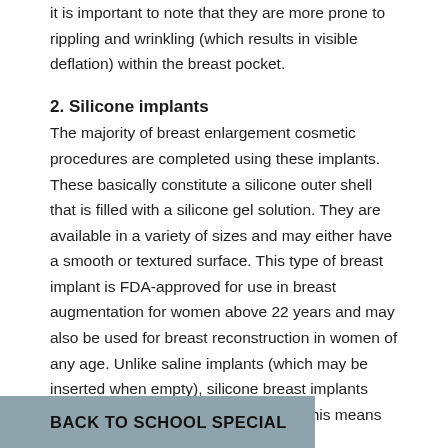it is important to note that they are more prone to rippling and wrinkling (which results in visible deflation) within the breast pocket.
2. Silicone implants
The majority of breast enlargement cosmetic procedures are completed using these implants. These basically constitute a silicone outer shell that is filled with a silicone gel solution. They are available in a variety of sizes and may either have a smooth or textured surface. This type of breast implant is FDA-approved for use in breast augmentation for women above 22 years and may also be used for breast reconstruction in women of any age. Unlike saline implants (which may be inserted when empty), silicone breast implants come pre-filled by the manufacturer. This means that a [during the] [silent and often
BACK TO SCHOOL SPECIAL